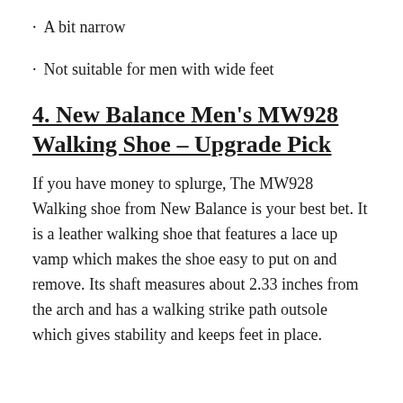A bit narrow
Not suitable for men with wide feet
4. New Balance Men’s MW928 Walking Shoe – Upgrade Pick
If you have money to splurge, The MW928 Walking shoe from New Balance is your best bet. It is a leather walking shoe that features a lace up vamp which makes the shoe easy to put on and remove. Its shaft measures about 2.33 inches from the arch and has a walking strike path outsole which gives stability and keeps feet in place.